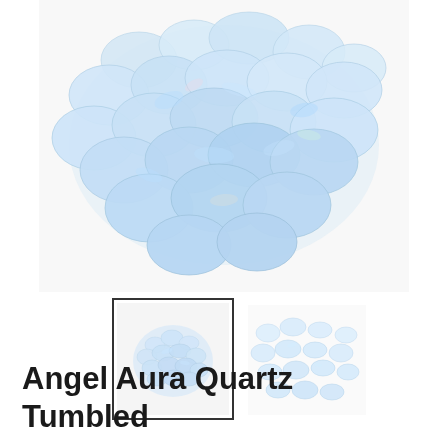[Figure (photo): Close-up photograph of a pile of iridescent Angel Aura Quartz tumbled stones, appearing translucent white with rainbow/iridescent sheen, on white background.]
[Figure (photo): Small thumbnail image of Angel Aura Quartz tumbled stones grouped together, shown with a black border indicating it is the selected thumbnail.]
[Figure (photo): Small thumbnail image of individual Angel Aura Quartz tumbled stones spread out, showing approximately 20 individual stones.]
Angel Aura Quartz Tumbled